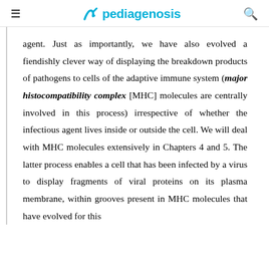pediagenosis
agent. Just as importantly, we have also evolved a fiendishly clever way of displaying the breakdown products of pathogens to cells of the adaptive immune system (major histocompatibility complex [MHC] molecules are centrally involved in this process) irrespective of whether the infectious agent lives inside or outside the cell. We will deal with MHC molecules extensively in Chapters 4 and 5. The latter process enables a cell that has been infected by a virus to display fragments of viral proteins on its plasma membrane, within grooves present in MHC molecules that have evolved for this